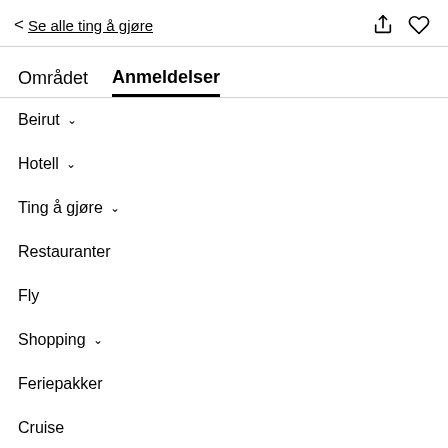< Se alle ting å gjøre
Området  Anmeldelser
Beirut
Hotell
Ting å gjøre
Restauranter
Fly
Shopping
Feriepakker
Cruise